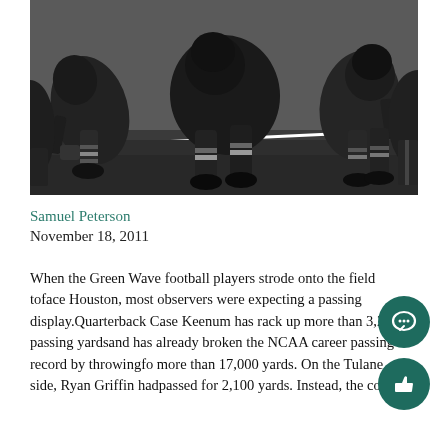[Figure (photo): Black and white photograph of American football players lined up at the line of scrimmage, viewed from ground level showing legs, cleats, and athletic stances on the field.]
Samuel Peterson
November 18, 2011
When the Green Wave football players strode onto the field toface Houston, most observers were expecting a passing display.Quarterback Case Keenum has racked up more than 3,200 passing yardsand has already broken the NCAA career passing record by throwingfor more than 17,000 yards. On the Tulane side, Ryan Griffin hadpassed for 2,100 yards. Instead, the contest